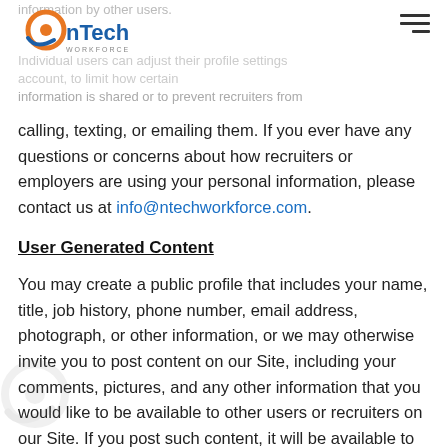information by other users.
Individual users can adjust their profile settings [and] account, to limit how certain information is shared or to prevent recruiters from calling, texting, or emailing them. If you ever have any questions or concerns about how recruiters or employers are using your personal information, please contact us at info@ntechworkforce.com.
User Generated Content
You may create a public profile that includes your name, title, job history, phone number, email address, photograph, or other information, or we may otherwise invite you to post content on our Site, including your comments, pictures, and any other information that you would like to be available to other users or recruiters on our Site. If you post such content, it will be available to recruiters and other users of the Site, and may also become public. We cannot control how third